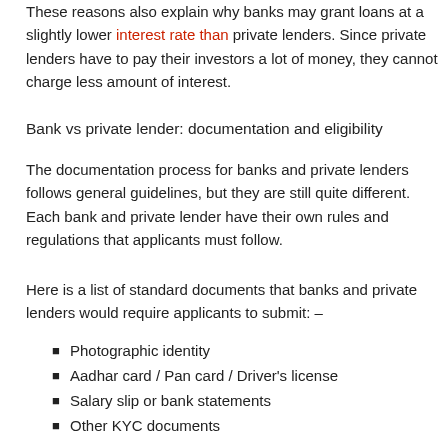These reasons also explain why banks may grant loans at a slightly lower interest rate than private lenders. Since private lenders have to pay their investors a lot of money, they cannot charge less amount of interest.
Bank vs private lender: documentation and eligibility
The documentation process for banks and private lenders follows general guidelines, but they are still quite different. Each bank and private lender have their own rules and regulations that applicants must follow.
Here is a list of standard documents that banks and private lenders would require applicants to submit: –
Photographic identity
Aadhar card / Pan card / Driver's license
Salary slip or bank statements
Other KYC documents